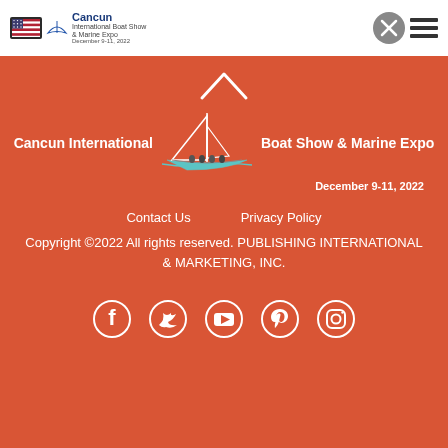[Figure (logo): Cancun International Boat Show & Marine Expo logo with US flag and hamburger/close menu icons in header bar]
[Figure (logo): Cancun International Boat Show & Marine Expo large logo with boat graphic on orange/red background]
Contact Us    Privacy Policy
Copyright ©2022 All rights reserved. PUBLISHING INTERNATIONAL & MARKETING, INC.
[Figure (infographic): Social media icons: Facebook, Twitter, YouTube, Pinterest, Instagram in white on orange-red background]